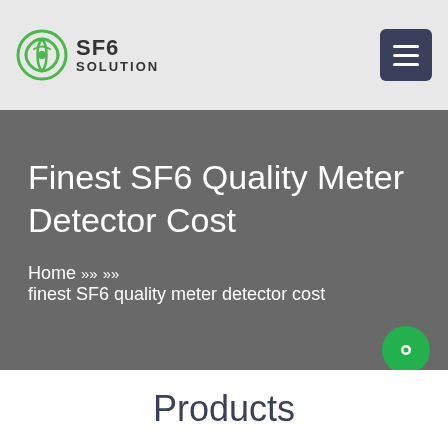SF6 SOLUTION
Finest SF6 Quality Meter Detector Cost
Home » » finest SF6 quality meter detector cost
Products